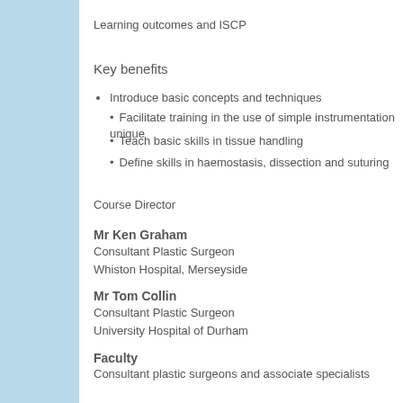Learning outcomes and ISCP
Key benefits
Introduce basic concepts and techniques
Facilitate training in the use of simple instrumentation unique
Teach basic skills in tissue handling
Define skills in haemostasis, dissection and suturing
Course Director
Mr Ken Graham
Consultant Plastic Surgeon
Whiston Hospital, Merseyside
Mr Tom Collin
Consultant Plastic Surgeon
University Hospital of Durham
Faculty
Consultant plastic surgeons and associate specialists